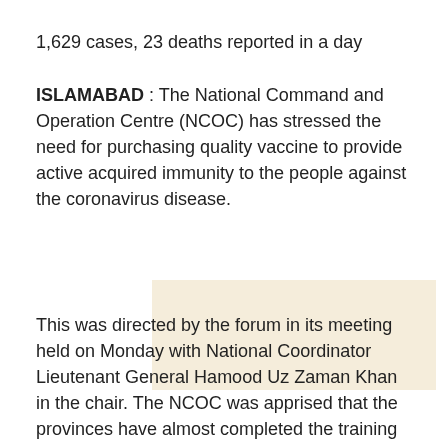1,629 cases, 23 deaths reported in a day
ISLAMABAD : The National Command and Operation Centre (NCOC) has stressed the need for purchasing quality vaccine to provide active acquired immunity to the people against the coronavirus disease.
[Figure (other): Advertisement placeholder block with beige/cream background]
This was directed by the forum in its meeting held on Monday with National Coordinator Lieutenant General Hamood Uz Zaman Khan in the chair. The NCOC was apprised that the provinces have almost completed the training of the staff of teaching hospitals, tehsil and district headquarters hospitals regarding Covid-19 vaccination for swift inoculation of the vaccine. The meeting discussed updates from the provinces on positivity and critical data